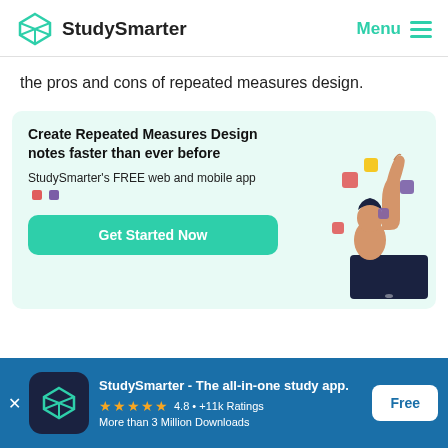StudySmarter | Menu
the pros and cons of repeated measures design.
[Figure (infographic): Promotional banner with teal background: 'Create Repeated Measures Design notes faster than ever before'. StudySmarter's FREE web and mobile app. Get Started Now button. Illustration of a person at a laptop with floating colorful squares and a large hand pointing upward.]
[Figure (infographic): Blue app download banner: StudySmarter - The all-in-one study app. 4.8 stars, +11k Ratings, More than 3 Million Downloads. Free button. App icon shown.]